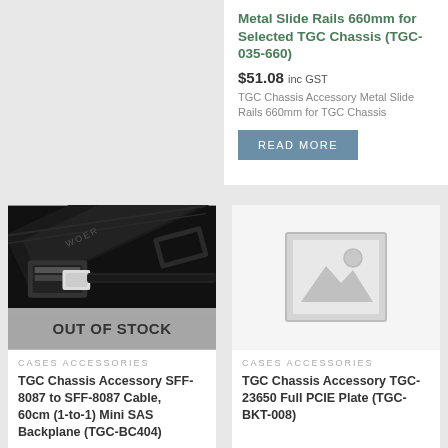Metal Slide Rails 660mm for Selected TGC Chassis (TGC-035-660)
$51.08 inc GST
TGC Chassis Accessory Metal Slide Rails 660mm for TGC Chassis
READ MORE
[Figure (photo): Black SFF-8087 to SFF-8087 cable close-up photo with OUT OF STOCK overlay]
OUT OF STOCK
CASES ACCESSORIES
TGC Chassis Accessory SFF-8087 to SFF-8087 Cable, 60cm (1-to-1) Mini SAS Backplane (TGC-BC404)
[Figure (photo): Placeholder image icon for product with no photo]
CASES ACCESSORIES
TGC Chassis Accessory TGC-23650 Full PCIE Plate (TGC-BKT-008)